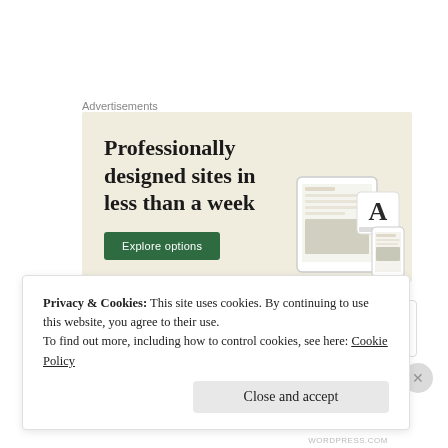Advertisements
[Figure (illustration): Advertisement banner with beige/cream background. Large serif bold text reads 'Professionally designed sites in less than a week'. A green button labeled 'Explore options' is in the lower left. On the right side, device mockups (tablet/phone) showing website designs are partially visible.]
Privacy & Cookies: This site uses cookies. By continuing to use this website, you agree to their use.
To find out more, including how to control cookies, see here: Cookie Policy
Close and accept